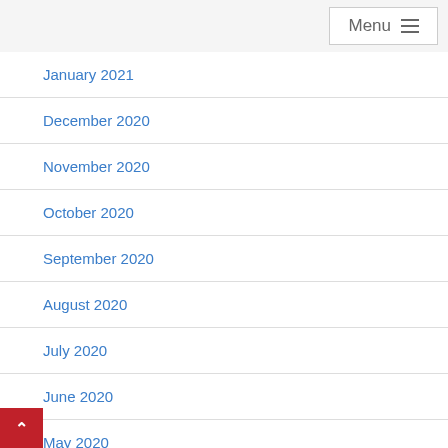Menu
January 2021
December 2020
November 2020
October 2020
September 2020
August 2020
July 2020
June 2020
May 2020
April 2020
March 2020
February 2020
January 2020